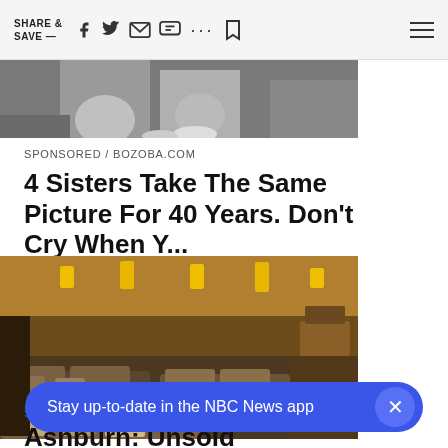SHARE & SAVE —  [social icons: facebook, twitter, email, comment, more, bookmark]  [hamburger menu]
[Figure (photo): Partially cropped black-and-white photograph of people, only lower portion visible]
SPONSORED / BOZOBA.COM
4 Sisters Take The Same Picture For 40 Years. Don't Cry When Y...
[Figure (photo): Interior of a furniture store showing multiple sofas and couches with yellow price tags on display]
SPON
Ashburn: Unsold Couches Are
Stay up-to-date in the NBC News app